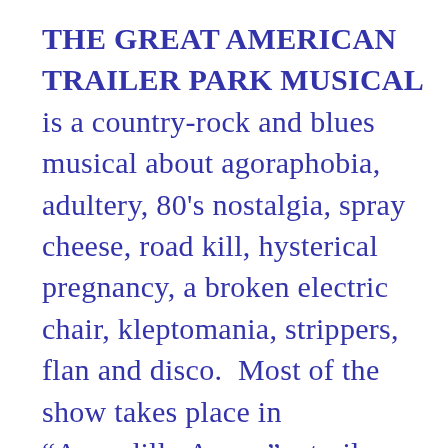THE GREAT AMERICAN TRAILER PARK MUSICAL is a country-rock and blues musical about agoraphobia, adultery, 80's nostalgia, spray cheese, road kill, hysterical pregnancy, a broken electric chair, kleptomania, strippers, flan and disco.  Most of the show takes place in “Armadillo Acres,” a trailer park in the North Florida town of Starke. The musical comedy centers on a regular guy and his agoraphobic wife, whose marriage is threatened by a hot